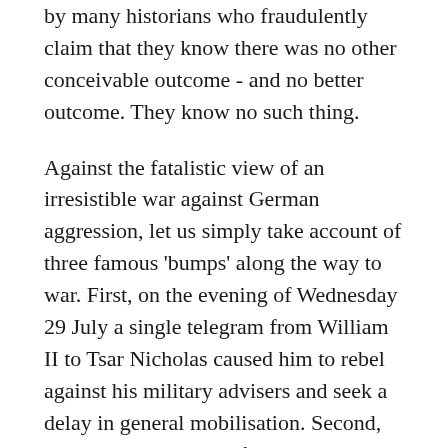by many historians who fraudulently claim that they know there was no other conceivable outcome - and no better outcome. They know no such thing.
Against the fatalistic view of an irresistible war against German aggression, let us simply take account of three famous 'bumps' along the way to war. First, on the evening of Wednesday 29 July a single telegram from William II to Tsar Nicholas caused him to rebel against his military advisers and seek a delay in general mobilisation. Second, early in the morning of Thursday 30 July, Viviani and Poincare sent a telegram to St Petersburg that leant toward caution. It urged Russia to avoid 'any measure which might offer Germany a pretext for a total or partial mobilisation of her forces'. But, sadly, it also included the usual assurances that 'France is resolved to fulfil all the obligations of the